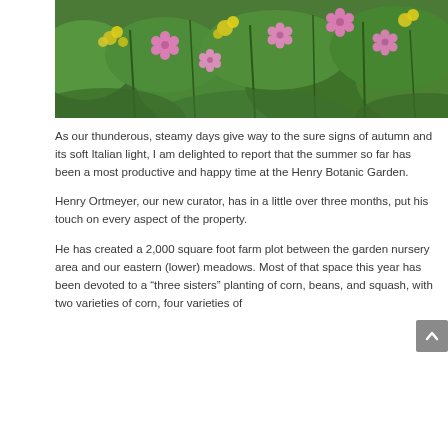[Figure (photo): A garden photograph showing pink and yellow wildflowers among green foliage and stems.]
As our thunderous, steamy days give way to the sure signs of autumn and its soft Italian light, I am delighted to report that the summer so far has been a most productive and happy time at the Henry Botanic Garden.
Henry Ortmeyer, our new curator, has in a little over three months, put his touch on every aspect of the property.
He has created a 2,000 square foot farm plot between the garden nursery area and our eastern (lower) meadows. Most of that space this year has been devoted to a “three sisters” planting of corn, beans, and squash, with two varieties of corn, four varieties of